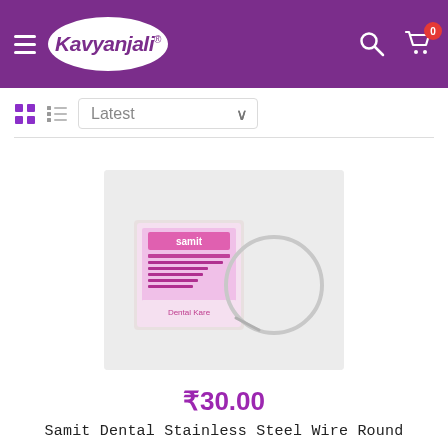[Figure (screenshot): Kavyanjali e-commerce website header with purple background, hamburger menu, Kavyanjali logo in white oval, search icon, and shopping cart icon with badge showing 0]
[Figure (screenshot): Toolbar with grid view icon, list view icon, and Latest sort dropdown with chevron]
[Figure (photo): Product image of Samit Dental Stainless Steel Wire Round on light grey background — a pink labeled package with a coiled wire visible]
₹30.00
Samit Dental Stainless Steel Wire Round